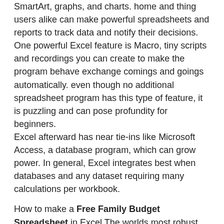SmartArt, graphs, and charts. home and thing users alike can make powerful spreadsheets and reports to track data and notify their decisions.
One powerful Excel feature is Macro, tiny scripts and recordings you can create to make the program behave exchange comings and goings automatically. even though no additional spreadsheet program has this type of feature, it is puzzling and can pose profundity for beginners.
Excel afterward has near tie-ins like Microsoft Access, a database program, which can grow power. In general, Excel integrates best when databases and any dataset requiring many calculations per workbook.
How to make a Free Family Budget Spreadsheet in Excel The worlds most robust fixed idea spreadsheet application, Excel, comes as allowance of both Microsoft Office and Office 365. There are two main differences amongst the two offerings: First, Microsoft Office is an on-premise application whereas Office 365 is a cloud-based app suite. Second, Office is a one-time payment, and Office 365 is a monthly subscription. Excel is simple for both Mac and PC.